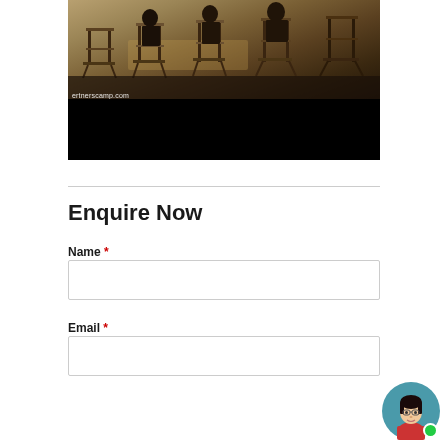[Figure (photo): Outdoor scene showing people sitting in director-style chairs on a wooden deck or patio, viewed from behind. The image has a dark/shadowed bottom portion. A watermark reading 'ertnerscamp.com' is visible in white text on the lower left of the photo area.]
Enquire Now
Name *
Email *
[Figure (illustration): Chat assistant avatar: a circular avatar showing a cartoon woman with dark hair, glasses, and a red shirt, with a green online indicator dot in the bottom right corner. The circle background is teal/dark cyan.]